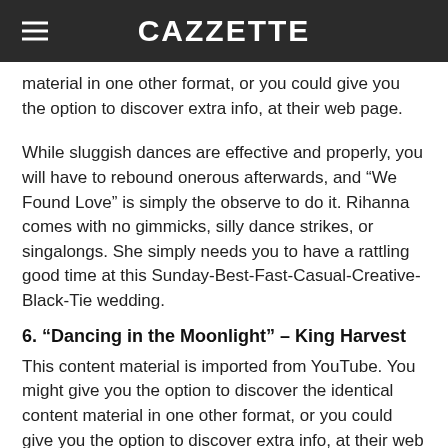CAZZETTE
material in one other format, or you could give you the option to discover extra info, at their web page.
While sluggish dances are effective and properly, you will have to rebound onerous afterwards, and “We Found Love” is simply the observe to do it. Rihanna comes with no gimmicks, silly dance strikes, or singalongs. She simply needs you to have a rattling good time at this Sunday-Best-Fast-Casual-Creative-Black-Tie wedding.
6. “Dancing in the Moonlight” – King Harvest
This content material is imported from YouTube. You might give you the option to discover the identical content material in one other format, or you could give you the option to discover extra info, at their web page.